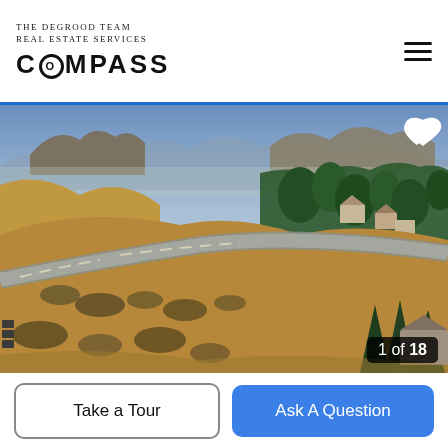The DeGrood Team Real Estate Services COMPASS
[Figure (photo): Aerial drone photograph of a rural/suburban landscape showing golden grassland hills, a road cutting through the terrain, scattered pine trees, residential homes visible in upper right, and mountains/buttes in the background under a blue hazy sky. Counter shows 1 of 18.]
1 of 18
Take a Tour
Ask A Question